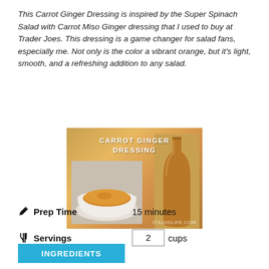This Carrot Ginger Dressing is inspired by the Super Spinach Salad with Carrot Miso Ginger dressing that I used to buy at Trader Joes. This dressing is a game changer for salad fans, especially me. Not only is the color a vibrant orange, but it's light, smooth, and a refreshing addition to any salad.
[Figure (photo): Photo of carrot ginger dressing in a white bowl next to a bottle of dressing, with text overlay 'CARROT GINGER DRESSING' and watermark 'ITSJODLIFE.COM']
Prep Time   15 minutes
Servings   2 cups
INGREDIENTS